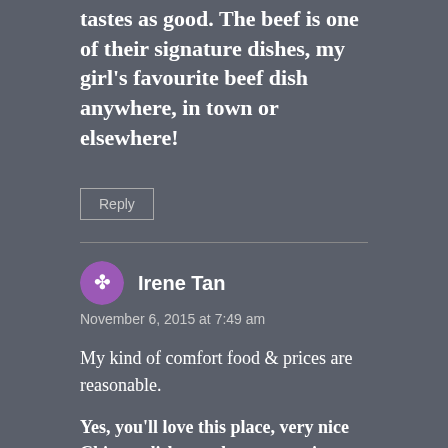tastes as good. The beef is one of their signature dishes, my girl's favourite beef dish anywhere, in town or elsewhere!
Reply
Irene Tan
November 6, 2015 at 7:49 am
My kind of comfort food & prices are reasonable.
Yes, you'll love this place, very nice Chinese dishes and not expensive.
Reply